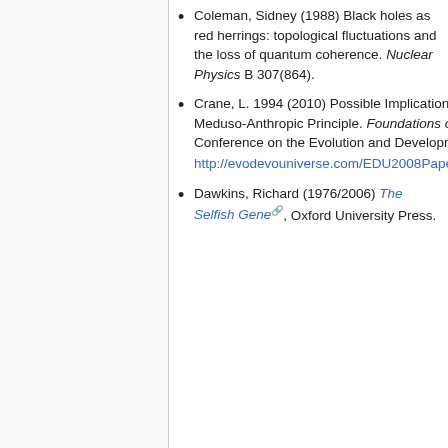Coleman, Sidney (1988) Black holes as red herrings: topological fluctuations and the loss of quantum coherence. Nuclear Physics B 307(864).
Crane, L. 1994 (2010) Possible Implications of the Quantum Theory of Gravity: An Introduction to the Meduso-Anthropic Principle. Foundations of Science Preprint 1994, no. Special Issue of the First Conference on the Evolution and Development of the Universe (EDU-2008). In press. http://evodevouniverse.com/EDU2008Papers/CranePossibleImplicationsQuantumGravityEDU2008.pdf.
Dawkins, Richard (1976/2006) The Selfish Gene, Oxford University Press.